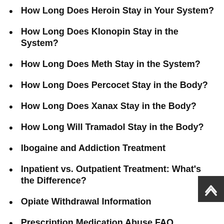How Long Does Heroin Stay in Your System?
How Long Does Klonopin Stay in the System?
How Long Does Meth Stay in the System?
How Long Does Percocet Stay in the Body?
How Long Does Xanax Stay in the Body?
How Long Will Tramadol Stay in the Body?
Ibogaine and Addiction Treatment
Inpatient vs. Outpatient Treatment: What's the Difference?
Opiate Withdrawal Information
Prescription Medication Abuse FAQ
The Rock Bottom Myth
What You Should Know About Methadone in Your System
Which Drugs Require Medically Assisted Detox?